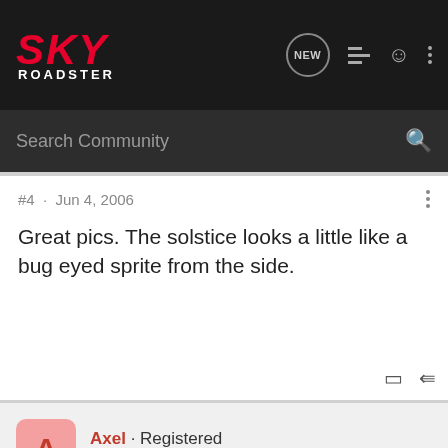[Figure (logo): SKY ROADSTER logo in red italic bold text with white ROADSTER text below, on dark background]
Search Community
#4 · Jun 4, 2006
Great pics. The solstice looks a little like a bug eyed sprite from the side.
Axel · Registered
Joined Sep 3, 2005 · 342 Posts